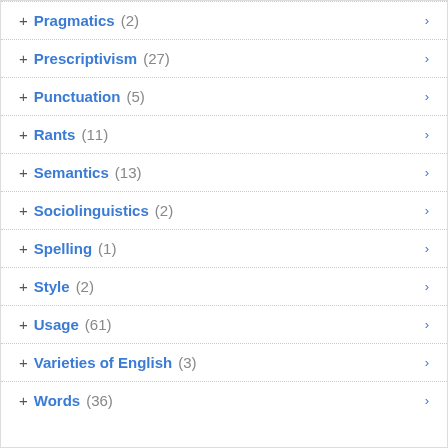+ Pragmatics (2)
+ Prescriptivism (27)
+ Punctuation (5)
+ Rants (11)
+ Semantics (13)
+ Sociolinguistics (2)
+ Spelling (1)
+ Style (2)
+ Usage (61)
+ Varieties of English (3)
+ Words (36)